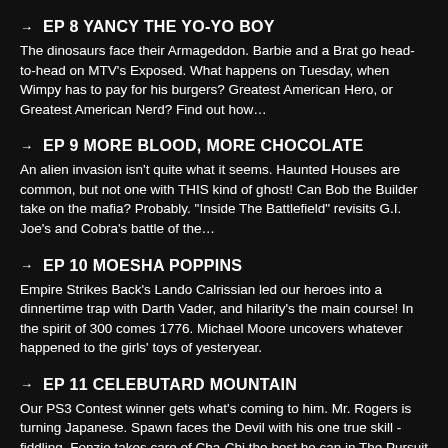EP 8 YANCY THE YO-YO BOY
The dinosaurs face their Armageddon. Barbie and a Brat go head-to-head on MTV's Exposed. What happens on Tuesday, when Wimpy has to pay for his burgers? Greatest American Hero, or Greatest American Nerd? Find out how…
EP 9 MORE BLOOD, MORE CHOCOLATE
An alien invasion isn't quite what it seems. Haunted Houses are common, but not one with THIS kind of ghost! Can Bob the Builder take on the mafia? Probably. "Inside The Battlefield" revisits G.I. Joe's and Cobra's battle of the…
EP 10 MOESHA POPPINS
Empire Strikes Back's Lando Calrissian led our heroes into a dinnertime trap with Darth Vader, and hilarity's the main course! In the spirit of 300 comes 1776. Michael Moore uncovers whatever happened to the girls' toys of yesteryear.
EP 11 CELEBUTARD MOUNTAIN
Our PS3 Contest winner gets what's coming to him. Mr. Rogers is turning Japanese. Spawn faces the Devil with his one true skill - fiddling. Fonzie takes care of Cha-Chi the best he can in The Pursuit of Happy Days. Iron Man's fee…